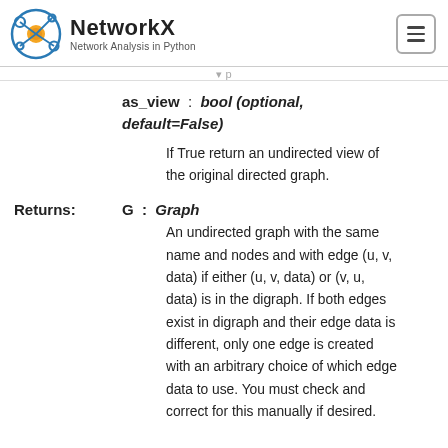NetworkX — Network Analysis in Python
as_view : bool (optional, default=False)
If True return an undirected view of the original directed graph.
Returns: G : Graph
An undirected graph with the same name and nodes and with edge (u, v, data) if either (u, v, data) or (v, u, data) is in the digraph. If both edges exist in digraph and their edge data is different, only one edge is created with an arbitrary choice of which edge data to use. You must check and correct for this manually if desired.